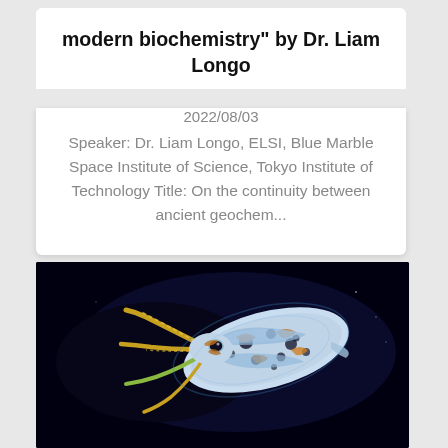modern biochemistry" by Dr. Liam Longo
2022/08/03
Speaker: Dr. Liam Longo, ELSI, Blue Marble Space Institute of Science, Tokyo Institute of Technology Title: On the continuity between ancient geochem...
[Figure (photo): Close-up photo of a blue and yellow-orange spotted squid or cuttlefish against a dark/black background, with bioluminescent blue coloring and orange/yellow markings and spots.]